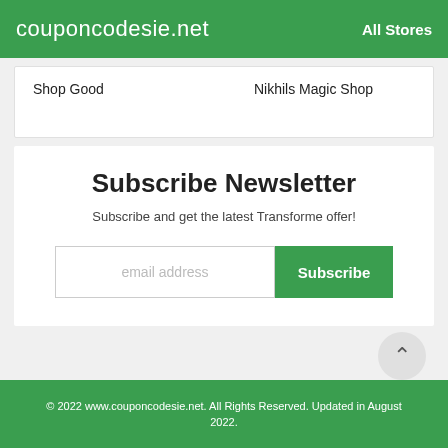couponcodesie.net   All Stores
Shop Good   Nikhils Magic Shop
Subscribe Newsletter
Subscribe and get the latest Transforme offer!
email address   Subscribe
© 2022 www.couponcodesie.net. All Rights Reserved. Updated in August 2022.